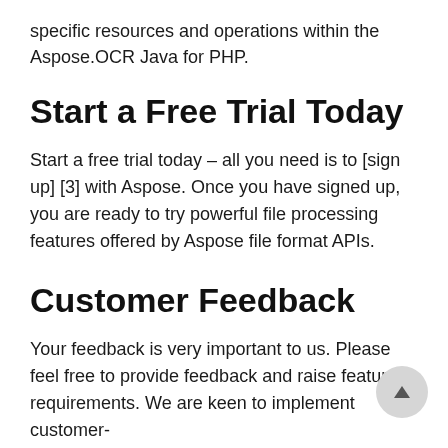specific resources and operations within the Aspose.OCR Java for PHP.
Start a Free Trial Today
Start a free trial today – all you need is to [sign up] [3] with Aspose. Once you have signed up, you are ready to try powerful file processing features offered by Aspose file format APIs.
Customer Feedback
Your feedback is very important to us. Please feel free to provide feedback and raise feature requirements. We are keen to implement customer-